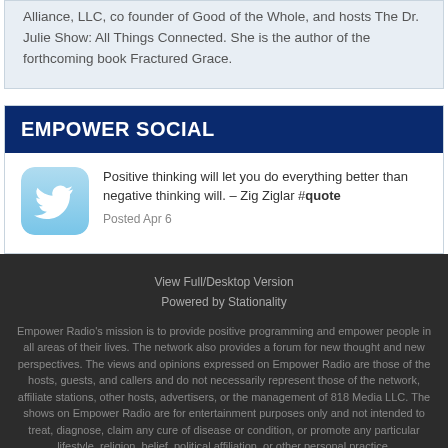Alliance, LLC, co founder of Good of the Whole, and hosts The Dr. Julie Show: All Things Connected. She is the author of the forthcoming book Fractured Grace.
EMPOWER SOCIAL
[Figure (logo): Twitter bird logo icon with light blue gradient background and rounded corners]
Positive thinking will let you do everything better than negative thinking will. – Zig Ziglar #quote
Posted Apr 6
View Full/Desktop Version
Powered by Stationality
Empower Radio's mission is to provide positive programming and empower people in all areas of their lives. The network also provides a forum for new thought and new perspectives. The views and opinions expressed on Empower Radio are those of the hosts, guests, and callers and do not necessarily represent those of the network, affiliate stations, other hosts, advertisers, or the management of 818 Media LLC. The shows on Empower Radio are for entertainment purposes only and not intended to treat, diagnose, claim any cure of disease or condition, or promote any particular lifestyle, religion, belief, political affiliation, or other personal practice.